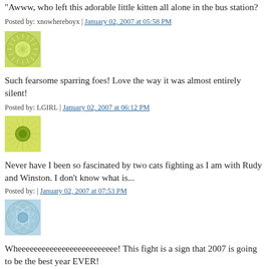"Awww, who left this adorable little kitten all alone in the bus station?
Posted by: xnowhereboyx | January 02, 2007 at 05:58 PM
[Figure (illustration): Green/yellow decorative avatar with sun/leaf pattern]
Such fearsome sparring foes! Love the way it was almost entirely silent!
Posted by: LGIRL | January 02, 2007 at 06:12 PM
[Figure (illustration): Green decorative avatar with circular sun burst pattern]
Never have I been so fascinated by two cats fighting as I am with Rudy and Winston. I don't know what is...
Posted by: | January 02, 2007 at 07:53 PM
[Figure (illustration): Blue/teal decorative avatar with circular pattern]
Wheeeeeeeeeeeeeeeeeeeeeeeee! This fight is a sign that 2007 is going to be the best year EVER!
Posted by: Yo | January 02, 2007 at 07:53 PM
[Figure (illustration): Teal/cyan decorative avatar with pattern, partially visible]